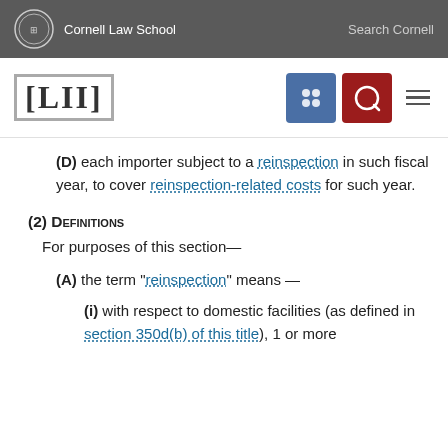Cornell Law School   Search Cornell
[Figure (logo): LII Legal Information Institute logo with Cornell Law School header navigation including search and menu icons]
(D) each importer subject to a reinspection in such fiscal year, to cover reinspection-related costs for such year.
(2) Definitions
For purposes of this section—
(A) the term "reinspection" means —
(i) with respect to domestic facilities (as defined in section 350d(b) of this title), 1 or more